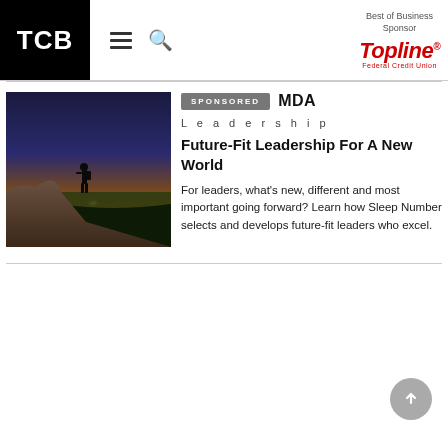TCB | Best of Business Sponsor: TopLine Federal Credit Union
[Figure (photo): Person standing on rocky mountain cliff at sunset, viewed from behind, overlooking vast landscape with sun on horizon]
SPONSORED  MDA
Leadership Future-Fit Leadership For A New World
For leaders, what's new, different and most important going forward? Learn how Sleep Number selects and develops future-fit leaders who excel.